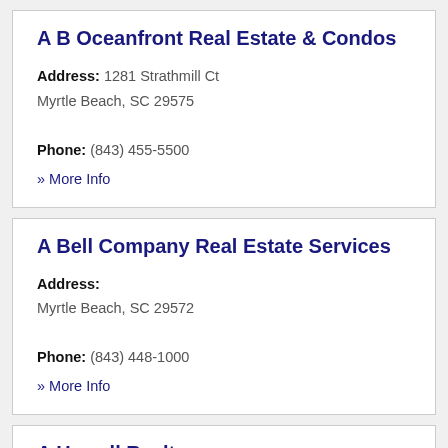A B Oceanfront Real Estate & Condos
Address: 1281 Strathmill Ct Myrtle Beach, SC 29575
Phone: (843) 455-5500
» More Info
A Bell Company Real Estate Services
Address: Myrtle Beach, SC 29572
Phone: (843) 448-1000
» More Info
A Howell Realty